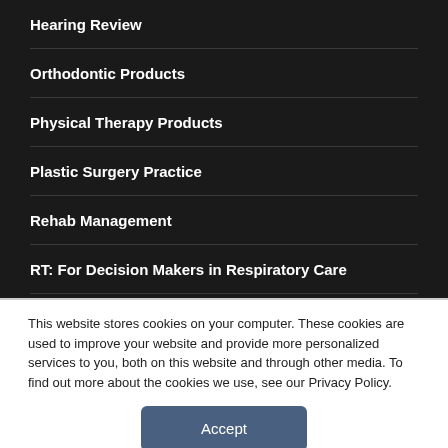Hearing Review
Orthodontic Products
Physical Therapy Products
Plastic Surgery Practice
Rehab Management
RT: For Decision Makers in Respiratory Care
Sleep Review
This website stores cookies on your computer. These cookies are used to improve your website and provide more personalized services to you, both on this website and through other media. To find out more about the cookies we use, see our Privacy Policy.
Accept